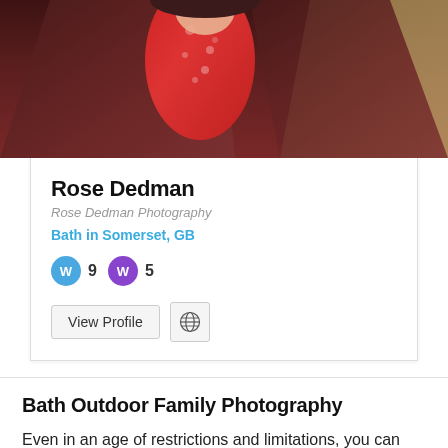[Figure (photo): Partial photo of Rose Dedman, showing person in dark maroon/brown jacket with red floral top, cropped at top of page]
Rose Dedman
Rose Dedman Photography
Bath in Somerset, GB
W 9  W 5
View Profile
Bath Outdoor Family Photography
Even in an age of restrictions and limitations, you can safely enjoy a photoshoot in an outdoor location with small groups of people or families. Your FPJA Bath family photographer can easily capture candid moments of the kids playing and interacting from a